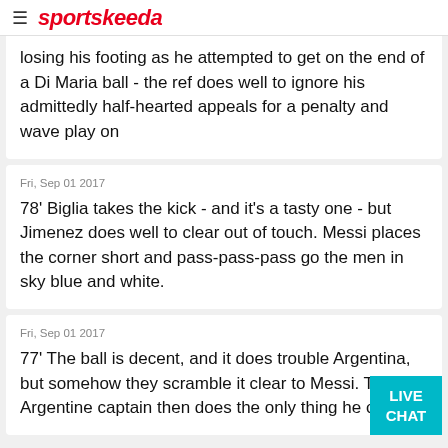sportskeeda
losing his footing as he attempted to get on the end of a Di Maria ball - the ref does well to ignore his admittedly half-hearted appeals for a penalty and wave play on
Fri, Sep 01 2017
78' Biglia takes the kick - and it's a tasty one - but Jimenez does well to clear out of touch. Messi places the corner short and pass-pass-pass go the men in sky blue and white.
Fri, Sep 01 2017
77' The ball is decent, and it does trouble Argentina, but somehow they scramble it clear to Messi. The Argentine captain then does the only thing he can do